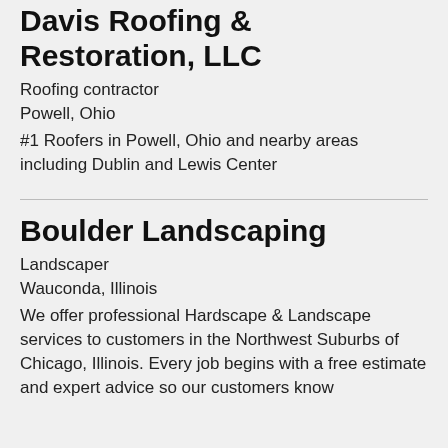Davis Roofing & Restoration, LLC
Roofing contractor
Powell, Ohio
#1 Roofers in Powell, Ohio and nearby areas including Dublin and Lewis Center
Boulder Landscaping
Landscaper
Wauconda, Illinois
We offer professional Hardscape & Landscape services to customers in the Northwest Suburbs of Chicago, Illinois. Every job begins with a free estimate and expert advice so our customers know